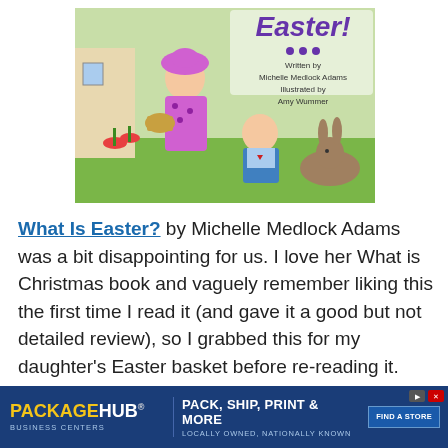[Figure (photo): Book cover of 'What Is Easter?' written by Michelle Medlock Adams, illustrated by Amy Wummer. Shows two children outdoors with flowers, a bunny, and a basket. Title in colorful text at top with decorative dots.]
What Is Easter? by Michelle Medlock Adams was a bit disappointing for us. I love her What is Christmas book and vaguely remember liking this the first time I read it (and gave it a good but not detailed review), so I grabbed this for my daughter's Easter basket before re-reading it. Ooops. Live and learn sometimes autho...k takes...
[Figure (other): PackageHub Business Centers advertisement banner. Text: PACK, SHIP, PRINT & MORE. LOCALLY OWNED, NATIONALLY KNOWN. FIND A STORE button.]